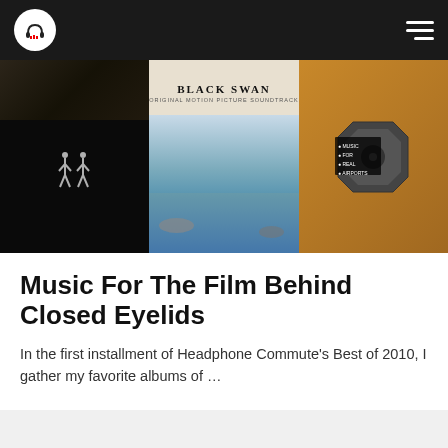Headphone Commute logo and navigation
[Figure (photo): Three album covers side by side: left is a dark/black album with two small figures, center shows 'Black Swan' original motion picture soundtrack with ocean/coastal scenery, right shows a vinyl/disc album with 'Music For Real Airports' text overlay]
Music For The Film Behind Closed Eyelids
In the first installment of Headphone Commute's Best of 2010, I gather my favorite albums of ...